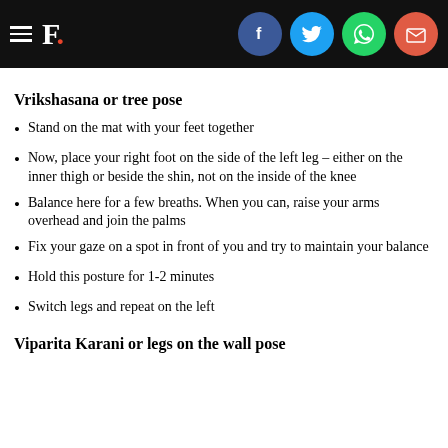F. [with social share icons: Facebook, Twitter, WhatsApp, Email]
Vrikshasana or tree pose
Stand on the mat with your feet together
Now, place your right foot on the side of the left leg - either on the inner thigh or beside the shin, not on the inside of the knee
Balance here for a few breaths. When you can, raise your arms overhead and join the palms
Fix your gaze on a spot in front of you and try to maintain your balance
Hold this posture for 1-2 minutes
Switch legs and repeat on the left
Viparita Karani or legs on the wall pose